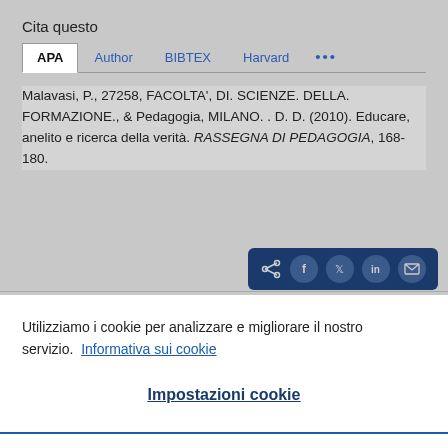Cita questo
APA   Author   BIBTEX   Harvard   ...
Malavasi, P., 27258, FACOLTA', DI. SCIENZE. DELLA. FORMAZIONE., & Pedagogia, MILANO. . D. D. (2010). Educare, anelito e ricerca della verità. RASSEGNA DI PEDAGOGIA, 168-180.
Utilizziamo i cookie per analizzare e migliorare il nostro servizio.  Informativa sui cookie
Impostazioni cookie